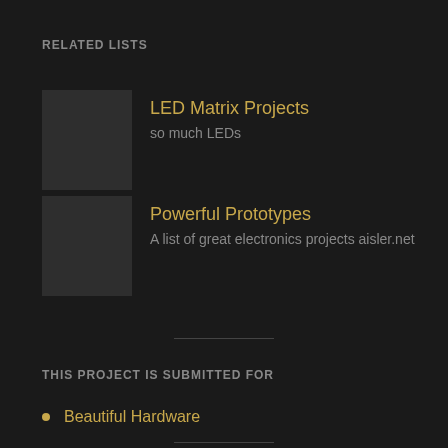RELATED LISTS
LED Matrix Projects
so much LEDs
Powerful Prototypes
A list of great electronics projects aisler.net
THIS PROJECT IS SUBMITTED FOR
Beautiful Hardware